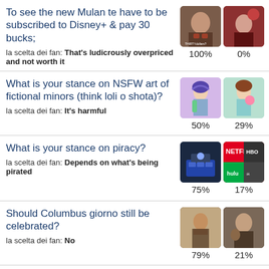To see the new Mulan te have to be subscribed to Disney+ & pay 30 bucks;
la scelta dei fan: That's ludicrously overpriced and not worth it
[Figure (photo): Two thumbnail images side by side with percentages 100% and 0%]
What is your stance on NSFW art of fictional minors (think loli o shota)?
la scelta dei fan: It's harmful
[Figure (photo): Two anime character thumbnails with percentages 50% and 29%]
What is your stance on piracy?
la scelta dei fan: Depends on what's being pirated
[Figure (photo): Two thumbnails about piracy/streaming with percentages 75% and 17%]
Should Columbus giorno still be celebrated?
la scelta dei fan: No
[Figure (photo): Two historical thumbnails with percentages 79% and 21%]
Do te feel as though there is some discrimination o bias against short